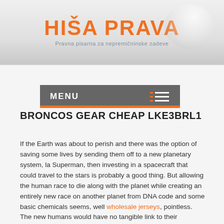HIŠA PRAVA
Pravna pisarna za nepremičninske zadeve
MENU
BRONCOS GEAR CHEAP LKE3BRL1
If the Earth was about to perish and there was the option of saving some lives by sending them off to a new planetary system, la Superman, then investing in a spacecraft that could travel to the stars is probably a good thing. But allowing the human race to die along with the planet while creating an entirely new race on another planet from DNA code and some basic chemicals seems, well wholesale jerseys, pointless. The new humans would have no tangible link to their ancestors, no real history and none of the norms, which our civilization has developed to survive.